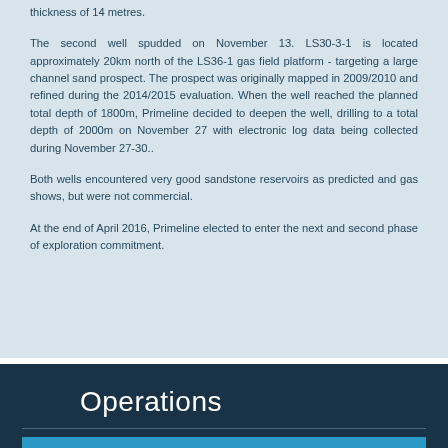thickness of 14 metres.
The second well spudded on November 13. LS30-3-1 is located approximately 20km north of the LS36-1 gas field platform - targeting a large channel sand prospect. The prospect was originally mapped in 2009/2010 and refined during the 2014/2015 evaluation. When the well reached the planned total depth of 1800m, Primeline decided to deepen the well, drilling to a total depth of 2000m on November 27 with electronic log data being collected during November 27-30..
Both wells encountered very good sandstone reservoirs as predicted and gas shows, but were not commercial.
At the end of April 2016, Primeline elected to enter the next and second phase of exploration commitment.
Operations
Assets